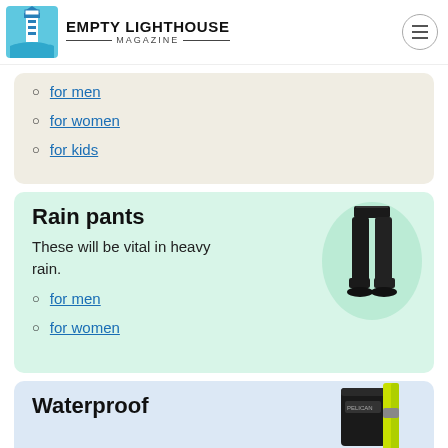Empty Lighthouse Magazine
for men
for women
for kids
Rain pants
These will be vital in heavy rain.
[Figure (photo): Person wearing black rain pants and black shoes, shown from waist down]
for men
for women
Waterproof
[Figure (photo): Waterproof bag/case with bright yellow strap, Pelican brand]